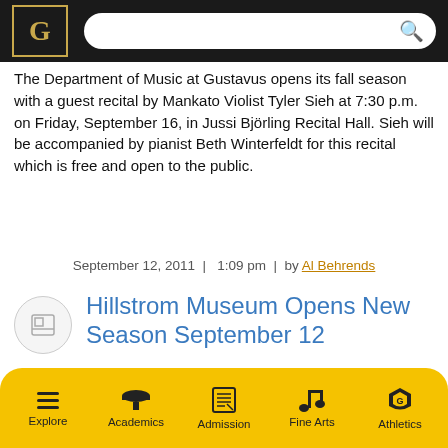Gustavus Adolphus College – header with logo and search bar
The Department of Music at Gustavus opens its fall season with a guest recital by Mankato Violist Tyler Sieh at 7:30 p.m. on Friday, September 16, in Jussi Björling Recital Hall. Sieh will be accompanied by pianist Beth Winterfeldt for this recital which is free and open to the public.
September 12, 2011  |  1:09 pm  |  by Al Behrends
Hillstrom Museum Opens New Season September 12
The Hillstrom Museum of Art at Gustavus Adolphus
Explore  Academics  Admission  Fine Arts  Athletics